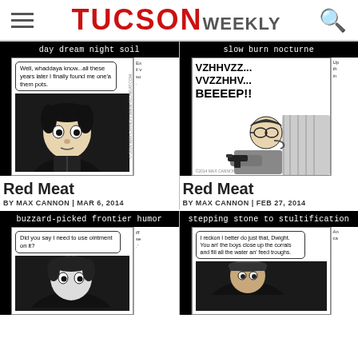TUCSON WEEKLY
[Figure (illustration): Red Meat comic strip 'day dream night soil' by Max Cannon, black and white, character with speech bubble: 'Well, whaddaya know...all these years later I finally found me one'a them pots.']
[Figure (illustration): Red Meat comic strip 'slow burn nocturne' by Max Cannon, black and white, character with gun, text: 'VZHHVZZ... VVZZHHV... BEEEEP!!']
Red Meat
BY MAX CANNON | MAR 6, 2014
Red Meat
BY MAX CANNON | FEB 27, 2014
[Figure (illustration): Red Meat comic strip 'buzzard-picked frontier humor' by Max Cannon, speech bubble: 'Did you say I need to use ointment on it?']
[Figure (illustration): Red Meat comic strip 'stepping stone to stultification' by Max Cannon, speech bubble: 'I reckon I better do just that, Dwight. You an' the boys close up the corrals and fill all the water an' feed troughs.']